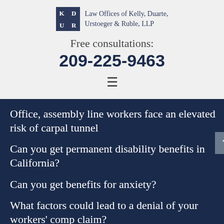[Figure (logo): Law Offices of Kelly, Duarte, Urstoeger & Ruble, LLP logo with dark blue square containing initials K D U R in a 2x2 grid]
Free consultations:
209-225-9463
Office, assembly line workers face an elevated risk of carpal tunnel
Can you get permanent disability benefits in California?
Can you get benefits for anxiety?
What factors could lead to a denial of your workers' comp claim?
¿Tengo que ser residente legal